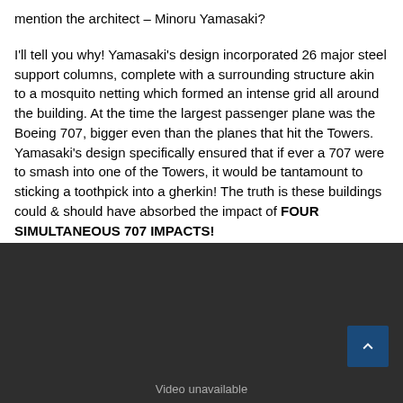mention the architect – Minoru Yamasaki?
I'll tell you why! Yamasaki's design incorporated 26 major steel support columns, complete with a surrounding structure akin to a mosquito netting which formed an intense grid all around the building. At the time the largest passenger plane was the Boeing 707, bigger even than the planes that hit the Towers. Yamasaki's design specifically ensured that if ever a 707 were to smash into one of the Towers, it would be tantamount to sticking a toothpick into a gherkin! The truth is these buildings could & should have absorbed the impact of FOUR SIMULTANEOUS 707 IMPACTS!
[Figure (screenshot): Dark gray video player area showing 'Video unavailable' text with a back-to-top button in bottom right corner.]